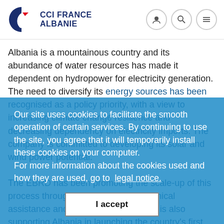[Figure (logo): CCI France Albanie logo with stylized C icon in blue and red, and text CCI FRANCE ALBANIE in dark blue]
Albania is a mountainous country and its abundance of water resources has made it dependent on hydropower for electricity generation. The need to diversify its energy sources has been recognised as a policy priority, with a view to increasing climate change resilience and decreasing dependency on electricity imports. The country is committed to developing its solar and wind power potential.

The EBRD has been promoting the scale-up of this process through policy dialogue, technical assistance and investment. The Bank is also supporting Albania in launching the country's first auction for utility-scale offshore wind power plants, expected in the weeks ahead. Projects totalling ... MW of capacity will be eligible under the renewable-energy support scheme run by Albania's Ministry of Infrastructure and Energy. The Senior State Secretary for Economic Affairs (SECO)
Our site uses cookies to facilitate the smooth operation of certain services. By continuing to use the site, you agree that it will temporarily install these cookies on your computer.
For more information about the cookies used and how they are used, go to legal notice.